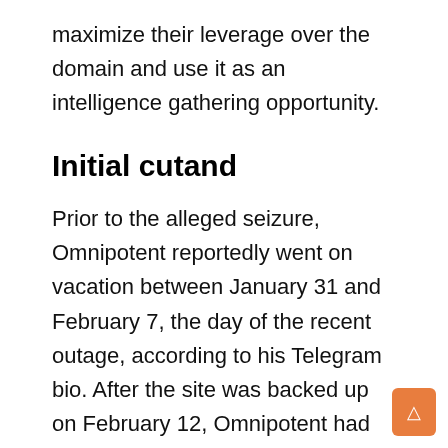maximize their leverage over the domain and use it as an intelligence gathering opportunity.
Initial cutand
Prior to the alleged seizure, Omnipotent reportedly went on vacation between January 31 and February 7, the day of the recent outage, according to his Telegram bio. After the site was backed up on February 12, Omnipotent had no comment on the outage. Additionally, the site owner was apparently not active on the site until the alleged February 25 seizure. It's not immediately clear if another admin outside of Omnipotent would have had the access needed to fix the site. Additionally, according to Ratel F...